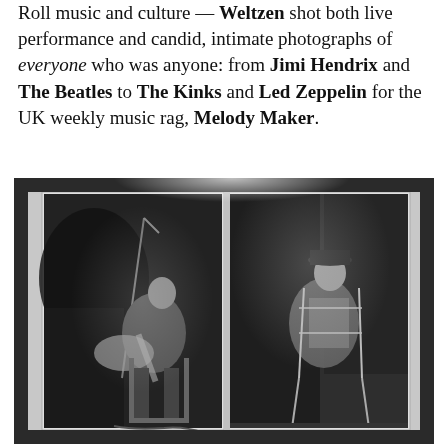Roll music and culture — Weltzen shot both live performance and candid, intimate photographs of everyone who was anyone: from Jimi Hendrix and The Beatles to The Kinks and Led Zeppelin for the UK weekly music rag, Melody Maker.
[Figure (photo): Black and white photograph displayed in a gallery setting, showing two framed prints side by side. Left image: a musician sitting and playing an electric guitar with a microphone stand. Right image: a person sitting on a chair, possibly also a musician, in a casual pose.]